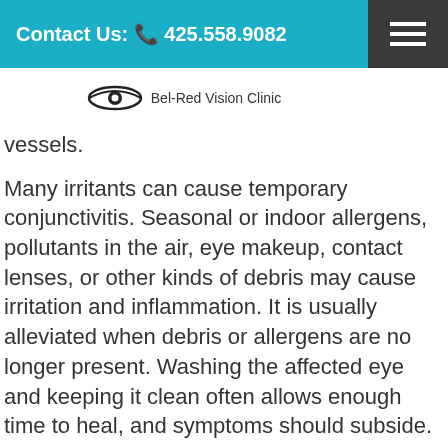Contact Us: 425.558.9082
[Figure (logo): Bel-Red Vision Clinic logo with eye icon and clinic name]
vessels.
Many irritants can cause temporary conjunctivitis. Seasonal or indoor allergens, pollutants in the air, eye makeup, contact lenses, or other kinds of debris may cause irritation and inflammation. It is usually alleviated when debris or allergens are no longer present. Washing the affected eye and keeping it clean often allows enough time to heal, and symptoms should subside.
Infection Conjunctivitis
Infection conjunctivitis may be viral or bacterial. The viral type may accompany a cold, fever, sore throat, or flu. Eye redness